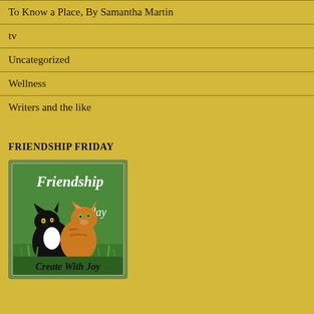To Know a Place, By Samantha Martin
tv
Uncategorized
Wellness
Writers and the like
FRIENDSHIP FRIDAY
[Figure (illustration): Friendship Friday badge showing two kittens (black and orange/white) sitting together on grass, with text 'Friendship Friday' and 'Create With Joy' on a green background with a decorative border.]